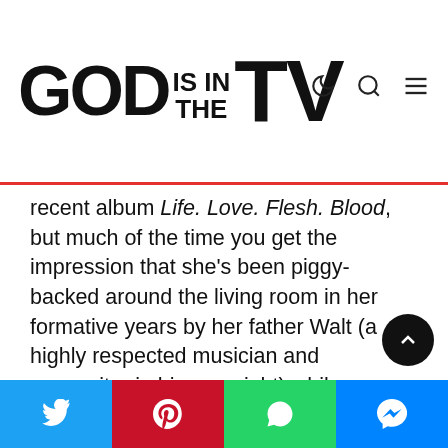GOD IS IN THE TV
recent album Life. Love. Flesh. Blood, but much of the time you get the impression that she's been piggy-backed around the living room in her formative years by her father Walt (a highly respected musician and songwriter in his own right) while Fleetwood Mac blare from the family stereo. Stevie Nicks era Mac is all over songs like 'Aftermath' and 'Living On Lonely', but occasionally it drifts worryingly close to sounding like The Corrs. Not that I have anything against the latter, wholesome family band, but come on, if you open the biscuit tin, nobody really chooses the digestives, do they? And frankly, that put me off a bit. Sorry, that was a bit Eric Cantona, wasn't
Share buttons: Twitter, Pinterest, WhatsApp, Messenger